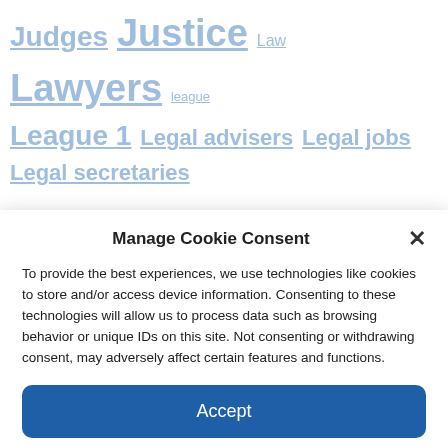Judges Justice Law Lawyers league League 1 Legal advisers Legal jobs Legal secretaries miscellaneous facts news oh Paralegals Politics premier league Presentation - CR - reaction (cat) psg
Manage Cookie Consent
To provide the best experiences, we use technologies like cookies to store and/or access device information. Consenting to these technologies will allow us to process data such as browsing behavior or unique IDs on this site. Not consenting or withdrawing consent, may adversely affect certain features and functions.
Accept
Cookie Policy